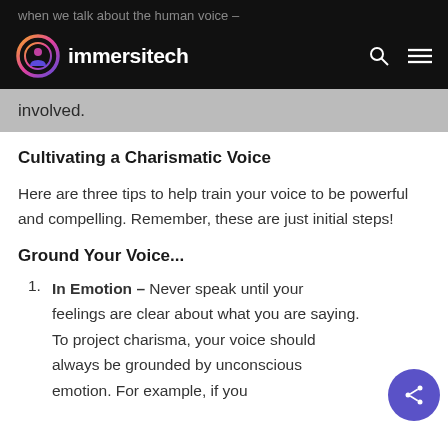when we talk about the human voice –
[Figure (logo): Immersitech logo: circular gradient icon with person silhouette, followed by bold white text 'immersitech' on black background with search and menu icons]
involved.
Cultivating a Charismatic Voice
Here are three tips to help train your voice to be powerful and compelling. Remember, these are just initial steps!
Ground Your Voice...
In Emotion – Never speak until your feelings are clear about what you are saying. To project charisma, your voice should always be grounded by unconscious emotion. For example, if you